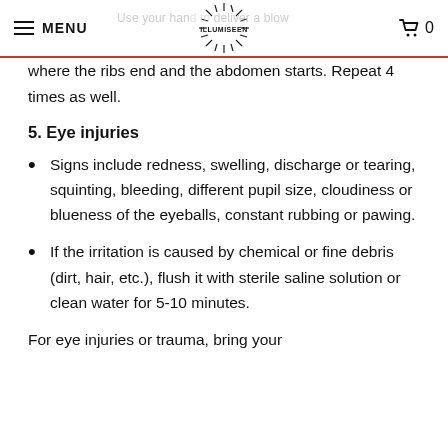MENU | ILLUMISEEN | Use your hand to deliver a blow | 0
where the ribs end and the abdomen starts. Repeat 4 times as well.
5. Eye injuries
Signs include redness, swelling, discharge or tearing, squinting, bleeding, different pupil size, cloudiness or blueness of the eyeballs, constant rubbing or pawing.
If the irritation is caused by chemical or fine debris (dirt, hair, etc.), flush it with sterile saline solution or clean water for 5-10 minutes.
For eye injuries or trauma, bring your